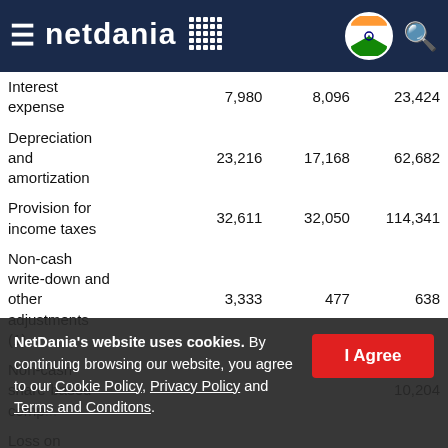netdania
|  |  |  |  |
| --- | --- | --- | --- |
| Interest expense | 7,980 | 8,096 | 23,424 |
| Depreciation and amortization | 23,216 | 17,168 | 62,682 |
| Provision for income taxes | 32,611 | 32,050 | 114,341 |
| Non-cash write-down and other adjustments (1) | 3,333 | 477 | 638 |
| Non-cash share-based compensation expense |  |  | 10,204 |
| Loss on |  |  |  |
NetDania's website uses cookies. By continuing browsing our website, you agree to our Cookie Policy, Privacy Policy and Terms and Conditons.